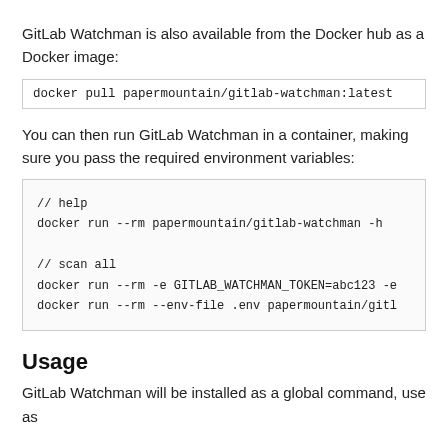GitLab Watchman is also available from the Docker hub as a Docker image:
docker pull papermountain/gitlab-watchman:latest
You can then run GitLab Watchman in a container, making sure you pass the required environment variables:
// help
docker run --rm papermountain/gitlab-watchman -h

// scan all
docker run --rm -e GITLAB_WATCHMAN_TOKEN=abc123 -e
docker run --rm --env-file .env papermountain/gitl
Usage
GitLab Watchman will be installed as a global command, use as